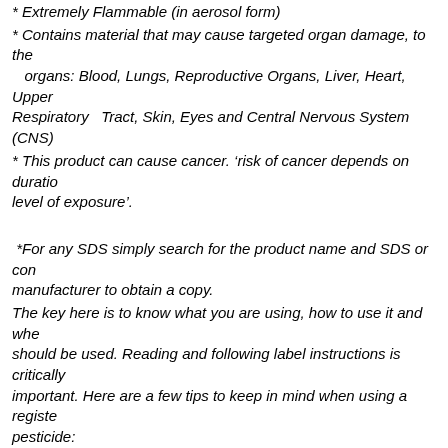* Extremely Flammable (in aerosol form)
* Contains material that may cause targeted organ damage, to the organs: Blood, Lungs, Reproductive Organs, Liver, Heart, Upper Respiratory Tract, Skin, Eyes and Central Nervous System (CNS)
* This product can cause cancer. ‘risk of cancer depends on duration and level of exposure’.
*For any SDS simply search for the product name and SDS or contact the manufacturer to obtain a copy.
The key here is to know what you are using, how to use it and when PPE should be used. Reading and following label instructions is critically important. Here are a few tips to keep in mind when using a registered pesticide:
1. Think before you spray. Keep in mind the chemical nature of what you are using, make sure for disinfecting purposed you have an EPA registered product. You can also check the EPA’s site for a list of registered products.
2. When spraying disinfectants, do not breath in the vapors or inhale